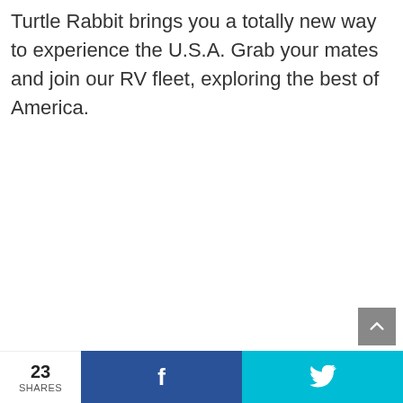Turtle Rabbit brings you a totally new way to experience the U.S.A. Grab your mates and join our RV fleet, exploring the best of America.
23 SHARES | Facebook share | Twitter share